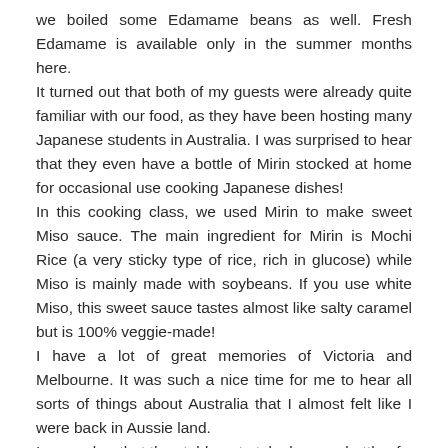we boiled some Edamame beans as well. Fresh Edamame is available only in the summer months here.
It turned out that both of my guests were already quite familiar with our food, as they have been hosting many Japanese students in Australia. I was surprised to hear that they even have a bottle of Mirin stocked at home for occasional use cooking Japanese dishes!
In this cooking class, we used Mirin to make sweet Miso sauce. The main ingredient for Mirin is Mochi Rice (a very sticky type of rice, rich in glucose) while Miso is mainly made with soybeans. If you use white Miso, this sweet sauce tastes almost like salty caramel but is 100% veggie-made!
I have a lot of great memories of Victoria and Melbourne. It was such a nice time for me to hear all sorts of things about Australia that I almost felt like I were back in Aussie land.
...